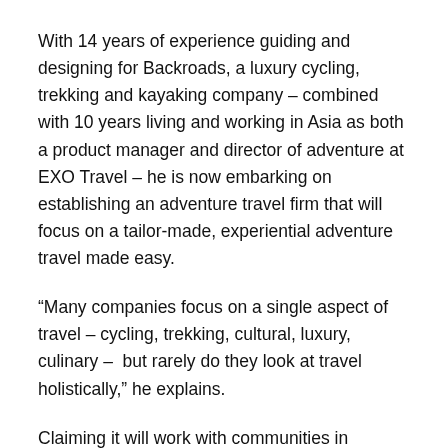With 14 years of experience guiding and designing for Backroads, a luxury cycling, trekking and kayaking company – combined with 10 years living and working in Asia as both a product manager and director of adventure at EXO Travel – he is now embarking on establishing an adventure travel firm that will focus on a tailor-made, experiential adventure travel made easy.
“Many companies focus on a single aspect of travel – cycling, trekking, cultural, luxury, culinary –  but rarely do they look at travel holistically,” he explains.
Claiming it will work with communities in Southeast Asia to put together adventures travel, whether it be rafting on rivers in forested land in northern Thailand or cycling on secluded paths through the otherwise crowded Angkor complex.